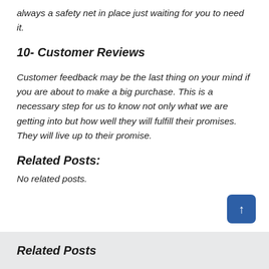always a safety net in place just waiting for you to need it.
10- Customer Reviews
Customer feedback may be the last thing on your mind if you are about to make a big purchase. This is a necessary step for us to know not only what we are getting into but how well they will fulfill their promises. They will live up to their promise.
Related Posts:
No related posts.
Related Posts